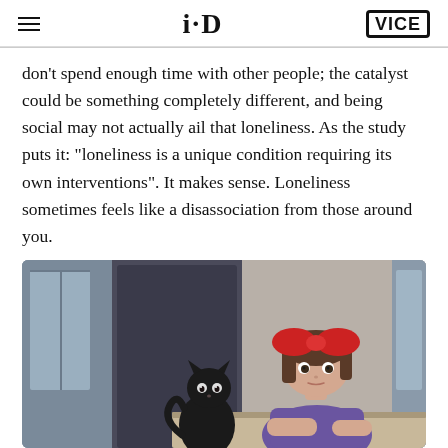i-D | VICE
don't spend enough time with other people; the catalyst could be something completely different, and being social may not actually ail that loneliness. As the study puts it: "loneliness is a unique condition requiring its own interventions". It makes sense. Loneliness sometimes feels like a disassociation from those around you.
[Figure (illustration): Anime still from Kiki's Delivery Service showing Kiki, a young girl with a large red bow in her hair and wearing a purple dress, sitting at a table looking pensive, with her black cat Jiji beside her. The background shows a window with muted blue-grey tones.]